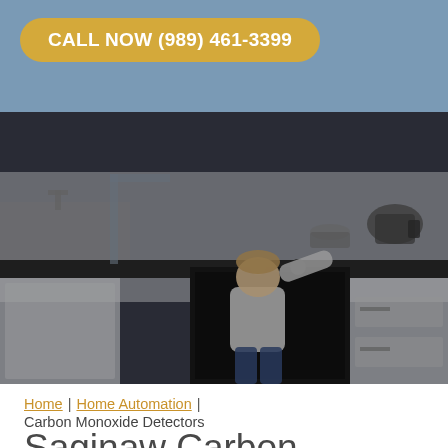CALL NOW (989) 461-3399
[Figure (photo): A young child standing at a kitchen stove/oven, reaching up toward the controls. The kitchen has white cabinets and dark countertops. The image has a dark, slightly muted tone.]
Home | Home Automation | Carbon Monoxide Detectors
Saginaw Carbon Monoxide